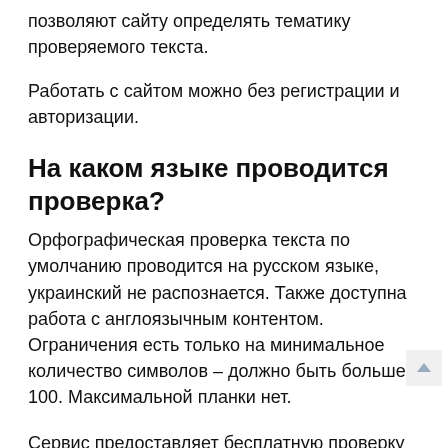позволяют сайту определять тематику проверяемого текста.
Работать с сайтом можно без регистрации и авторизации.
На каком языке проводится проверка?
Орфографическая проверка текста по умолчанию проводится на русском языке, украинский не распознается. Также доступна работа с англоязычным контентом. Ограничения есть только на минимальное количество символов – должно быть больше 100. Максимальной планки нет.
Сервис предоставляет бесплатную проверку орфографии. Лимитов на количество текстов в сутки нет.